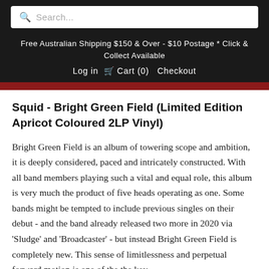Search...
Free Australian Shipping $150 & Over - $10 Postage * Click & Collect Available
Log in   Cart (0)   Checkout
Squid - Bright Green Field (Limited Edition Apricot Coloured 2LP Vinyl)
Bright Green Field is an album of towering scope and ambition, it is deeply considered, paced and intricately constructed. With all band members playing such a vital and equal role, this album is very much the product of five heads operating as one. Some bands might be tempted to include previous singles on their debut - and the band already released two more in 2020 via 'Sludge' and 'Broadcaster' - but instead Bright Green Field is completely new. This sense of limitlessness and perpetual forward motion is one of the the key